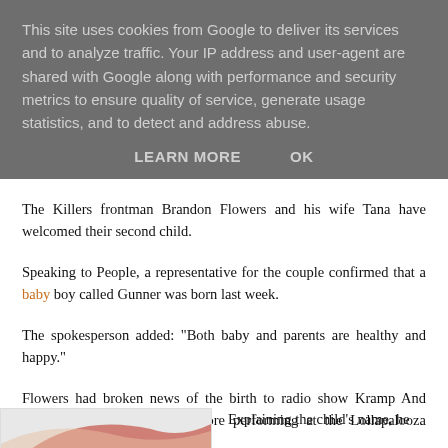This site uses cookies from Google to deliver its services and to analyze traffic. Your IP address and user-agent are shared with Google along with performance and security metrics to ensure quality of service, generate usage statistics, and to detect and address abuse.
LEARN MORE   OK
The Killers frontman Brandon Flowers and his wife Tana have welcomed their second child.
Speaking to People, a representative for the couple confirmed that a baby boy called Gunner was born last week.
The spokesperson added: "Both baby and parents are healthy and happy."
Flowers had broken news of the birth to radio show Kramp And Adler on Sunday, shortly before performing at the Lollapalooza festival.
Explaining the child's name, he